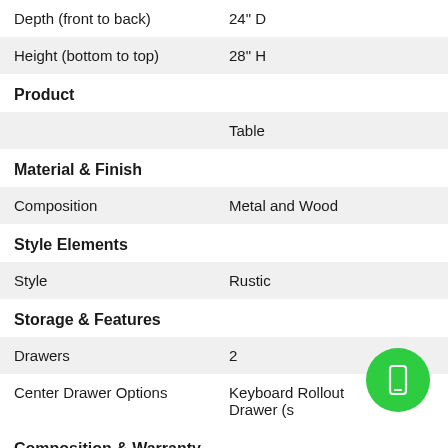| Attribute | Value |
| --- | --- |
| Depth (front to back) | 24" D |
| Height (bottom to top) | 28" H |
| Product | Table |
| Material & Finish |  |
| Composition | Metal and Wood |
| Style Elements |  |
| Style | Rustic |
| Storage & Features |  |
| Drawers | 2 |
| Center Drawer Options | Keyboard Rollout Drawer (s… |
| Composition & Warranty |  |